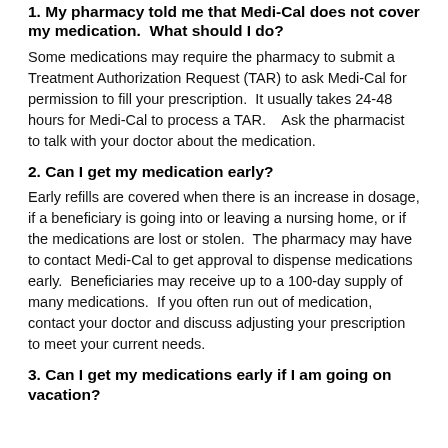1. My pharmacy told me that Medi-Cal does not cover my medication.  What should I do?
Some medications may require the pharmacy to submit a Treatment Authorization Request (TAR) to ask Medi-Cal for permission to fill your prescription.  It usually takes 24-48 hours for Medi-Cal to process a TAR.   Ask the pharmacist to talk with your doctor about the medication.
2. Can I get my medication early?
Early refills are covered when there is an increase in dosage, if a beneficiary is going into or leaving a nursing home, or if the medications are lost or stolen.  The pharmacy may have to contact Medi-Cal to get approval to dispense medications early.  Beneficiaries may receive up to a 100-day supply of many medications.  If you often run out of medication, contact your doctor and discuss adjusting your prescription to meet your current needs.
3. Can I get my medications early if I am going on vacation?